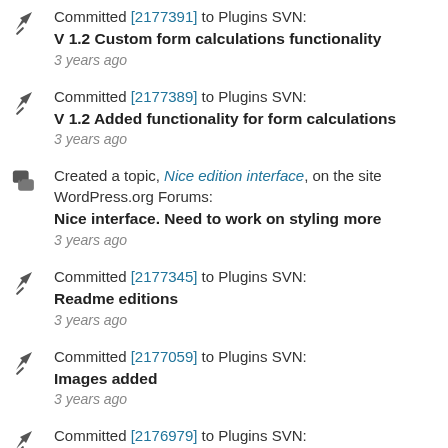Committed [2177391] to Plugins SVN: V 1.2 Custom form calculations functionality
3 years ago
Committed [2177389] to Plugins SVN: V 1.2 Added functionality for form calculations
3 years ago
Created a topic, Nice edition interface, on the site WordPress.org Forums: Nice interface. Need to work on styling more
3 years ago
Committed [2177345] to Plugins SVN: Readme editions
3 years ago
Committed [2177059] to Plugins SVN: Images added
3 years ago
Committed [2176979] to Plugins SVN: V 1.1
3 years ago